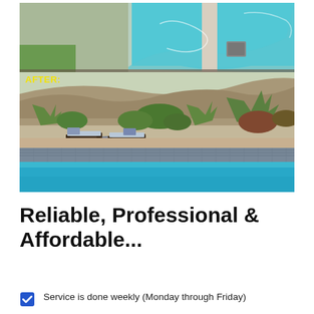[Figure (photo): Before and after photos of a swimming pool renovation. Top portion shows aerial view of a pool with bright turquoise water. Bottom portion labeled 'AFTER:' shows a beautifully landscaped backyard with pool, lounge chairs with blue pillows, stone tile pool coping, and lush green desert plants on a hillside.]
Reliable, Professional & Affordable...
Service is done weekly (Monday through Friday)